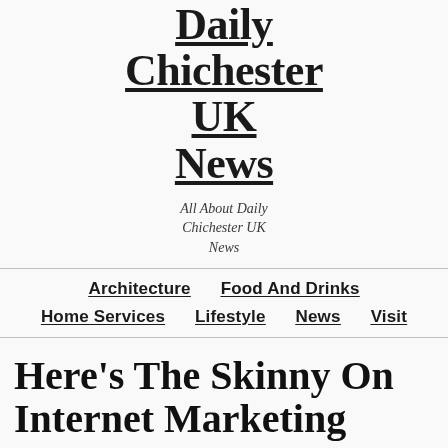Daily Chichester UK News
All About Daily Chichester UK News
Architecture  Food And Drinks  Home Services  Lifestyle  News  Visit
Here's The Skinny On Internet Marketing